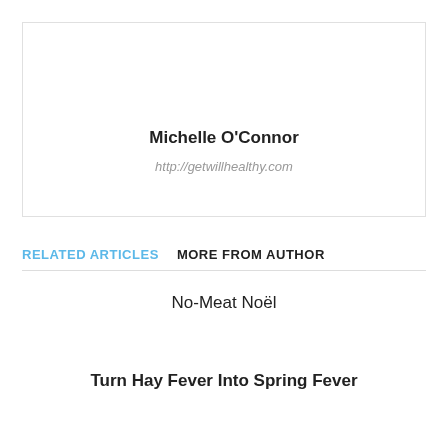Michelle O'Connor
http://getwillhealthy.com
RELATED ARTICLES   MORE FROM AUTHOR
No-Meat Noël
Turn Hay Fever Into Spring Fever